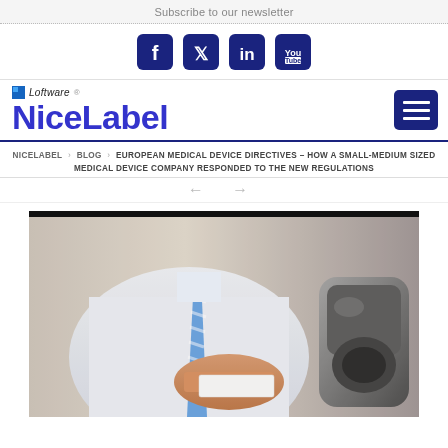Subscribe to our newsletter
[Figure (infographic): Social media icons row: Facebook, Twitter, LinkedIn, YouTube — all dark navy blue rounded square icons]
NICELABEL > BLOG > EUROPEAN MEDICAL DEVICE DIRECTIVES – HOW A SMALL-MEDIUM SIZED MEDICAL DEVICE COMPANY RESPONDED TO THE NEW REGULATIONS
[Figure (photo): Photo of a person in a white lab coat holding a white card/label while a barcode scanner is pointed at it — medical/healthcare setting]